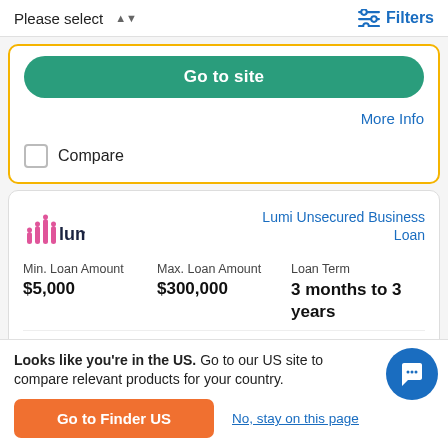Please select
Filters
Go to site
More Info
Compare
[Figure (logo): Lumi business loan logo with pink bar chart icon and dark blue 'lumi' text]
Lumi Unsecured Business Loan
| Min. Loan Amount | Max. Loan Amount | Loan Term |
| --- | --- | --- |
| $5,000 | $300,000 | 3 months to 3 years |
Upfront Fee
Looks like you're in the US. Go to our US site to compare relevant products for your country.
Go to Finder US
No, stay on this page